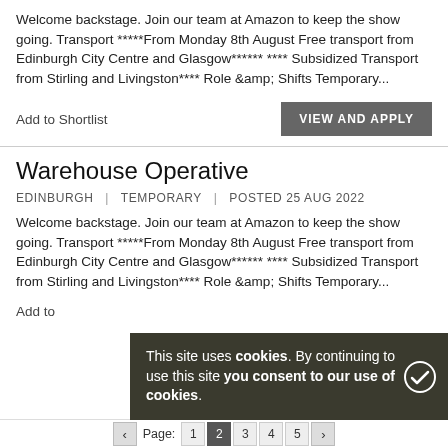Welcome backstage. Join our team at Amazon to keep the show going. Transport *****From Monday 8th August Free transport from Edinburgh City Centre and Glasgow****** **** Subsidized Transport from Stirling and Livingston**** Role &amp; Shifts Temporary...
Add to Shortlist
VIEW AND APPLY
Warehouse Operative
EDINBURGH | TEMPORARY | POSTED 25 AUG 2022
Welcome backstage. Join our team at Amazon to keep the show going. Transport *****From Monday 8th August Free transport from Edinburgh City Centre and Glasgow****** **** Subsidized Transport from Stirling and Livingston**** Role &amp; Shifts Temporary...
Add to
This site uses cookies. By continuing to use this site you consent to our use of cookies.
Page: 1 2 3 4 5